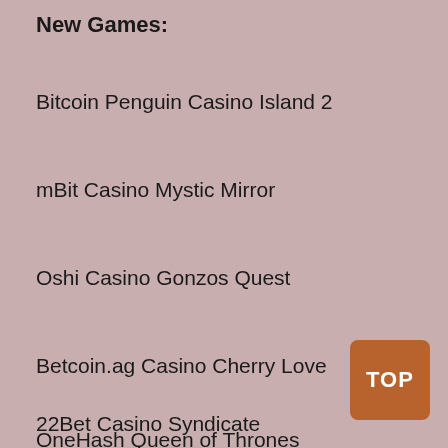New Games:
Bitcoin Penguin Casino Island 2
mBit Casino Mystic Mirror
Oshi Casino Gonzos Quest
Betcoin.ag Casino Cherry Love
22Bet Casino Syndicate
OneHash Queen of Thrones